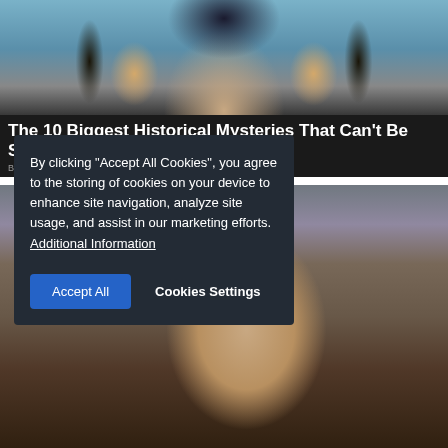[Figure (photo): Woman dressed as Cleopatra with Egyptian headdress, heavy eye makeup, gold jewelry, against blue background]
The 10 Biggest Historical Mysteries That Can't Be Solved
BRAINBERRIE
[Figure (photo): Young woman with short dark hair wearing a grey cardigan over a blue top, looking at camera]
By clicking "Accept All Cookies", you agree to the storing of cookies on your device to enhance site navigation, analyze site usage, and assist in our marketing efforts. Additional Information
Accept All
Cookies Settings